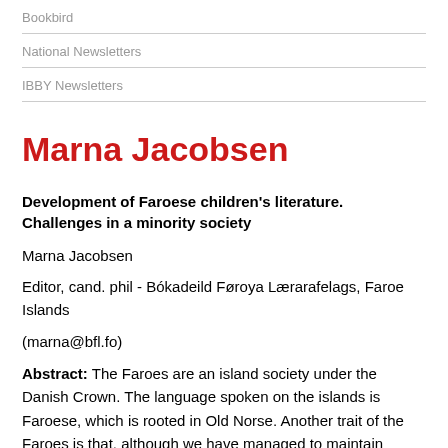Bookbird
National Newsletters
IBBY Newsletters
Marna Jacobsen
Development of Faroese children's literature. Challenges in a minority society
Marna Jacobsen
Editor, cand. phil - Bókadeild Føroya Lærarafelags, Faroe Islands
(marna@bfl.fo)
Abstract: The Faroes are an island society under the Danish Crown. The language spoken on the islands is Faroese, which is rooted in Old Norse. Another trait of the Faroes is that, although we have managed to maintain Faroese as the